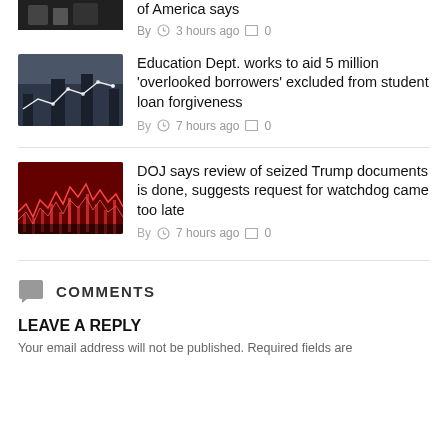of America says
By  ⊙ 3 hours ago  □ 0
Education Dept. works to aid 5 million 'overlooked borrowers' excluded from student loan forgiveness
By  ⊙ 7 hours ago  □ 0
DOJ says review of seized Trump documents is done, suggests request for watchdog came too late
By  ⊙ 7 hours ago  □ 0
COMMENTS
LEAVE A REPLY
Your email address will not be published. Required fields are